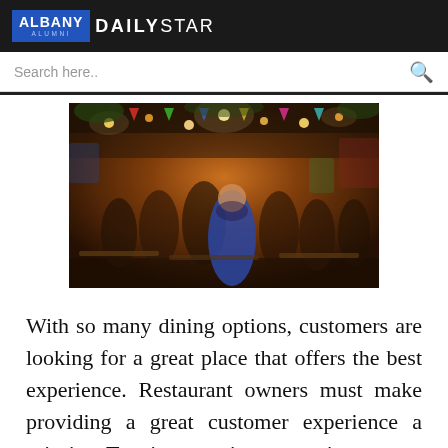ALBANY DAILY STAR
Search here..
[Figure (photo): Crowded restaurant or food market scene at night with colorful lights, hanging decorations, and many diners seated at tables]
With so many dining options, customers are looking for a great place that offers the best experience. Restaurant owners must make providing a great customer experience a priority. To give a unique experience, you should focus on customer